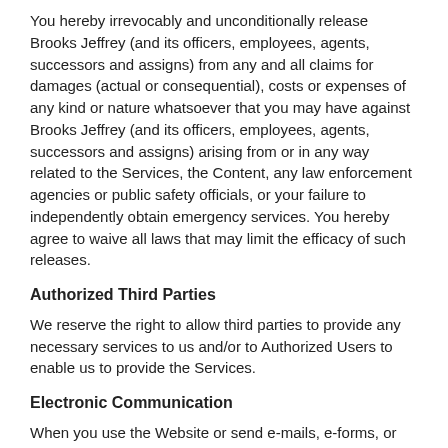You hereby irrevocably and unconditionally release Brooks Jeffrey (and its officers, employees, agents, successors and assigns) from any and all claims for damages (actual or consequential), costs or expenses of any kind or nature whatsoever that you may have against Brooks Jeffrey (and its officers, employees, agents, successors and assigns) arising from or in any way related to the Services, the Content, any law enforcement agencies or public safety officials, or your failure to independently obtain emergency services. You hereby agree to waive all laws that may limit the efficacy of such releases.
Authorized Third Parties
We reserve the right to allow third parties to provide any necessary services to us and/or to Authorized Users to enable us to provide the Services.
Electronic Communication
When you use the Website or send e-mails, e-forms, or text messages to us, you are communicating with us electronically. You consent to receive communications from us electronically. We will communicate with you